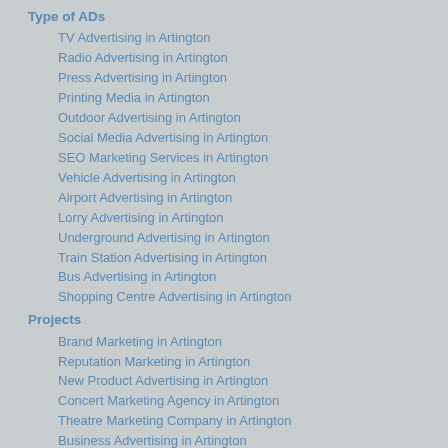Type of ADs
TV Advertising in Artington
Radio Advertising in Artington
Press Advertising in Artington
Printing Media in Artington
Outdoor Advertising in Artington
Social Media Advertising in Artington
SEO Marketing Services in Artington
Vehicle Advertising in Artington
Airport Advertising in Artington
Lorry Advertising in Artington
Underground Advertising in Artington
Train Station Advertising in Artington
Bus Advertising in Artington
Shopping Centre Advertising in Artington
Projects
Brand Marketing in Artington
Reputation Marketing in Artington
New Product Advertising in Artington
Concert Marketing Agency in Artington
Theatre Marketing Company in Artington
Business Advertising in Artington
Charity Advertising in Artington